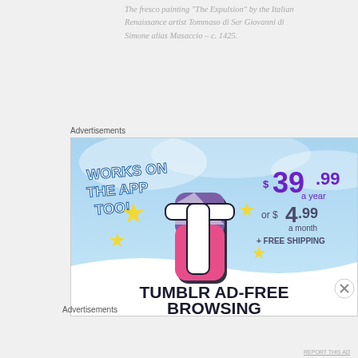The fresco painting "The Expulsion" by the Italian Renaissance artist Tommaso di Ser Giovanni di Simone alias Masaccio – c. 1425.
Advertisements
[Figure (photo): Tumblr Ad-Free Browsing advertisement banner showing the Tumblr logo with price $39.99 a year or $4.99 a month plus free shipping, with text 'WORKS ON THE APP TOO!' and 'TUMBLR AD-FREE BROWSING']
Advertisements